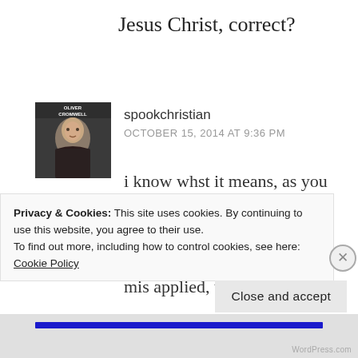Jesus Christ, correct?
[Figure (photo): Avatar photo of Oliver Cromwell book/portrait cover]
spookchristian
OCTOBER 15, 2014 AT 9:36 PM
i know whst it means, as you do.. lol

just sick of it being abused and mis applied, that i would never
Privacy & Cookies: This site uses cookies. By continuing to use this website, you agree to their use.
To find out more, including how to control cookies, see here:
Cookie Policy
Close and accept